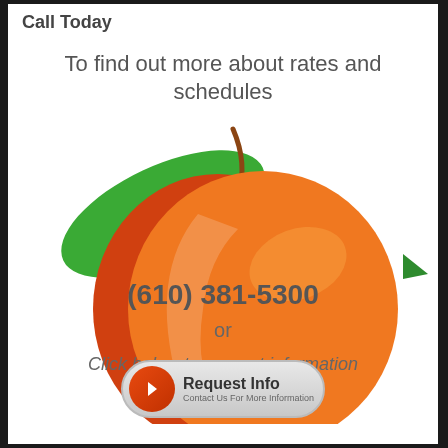Call Today
To find out more about rates and schedules
[Figure (illustration): Peach logo illustration with green leaf and orange/red peach fruit. Contains phone number (610) 381-5300, 'or', and 'Click below to request information' text overlaid on the peach graphic.]
[Figure (illustration): Request Info button with orange arrow icon and text 'Request Info / Contact Us For More Information']